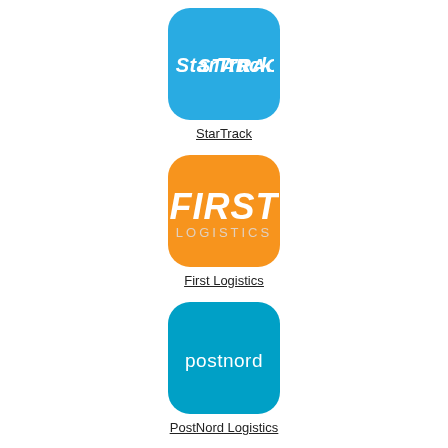[Figure (logo): StarTrack logo: blue rounded square with 'STARTRACK' text in white bold italic]
StarTrack
[Figure (logo): First Logistics logo: orange rounded square with 'FIRST LOGISTICS' text in white]
First Logistics
[Figure (logo): PostNord logo: teal/cyan rounded square with 'postnord' text in white]
PostNord Logistics
[Figure (logo): Fourth logo: partial teal/cyan rounded square visible at bottom]